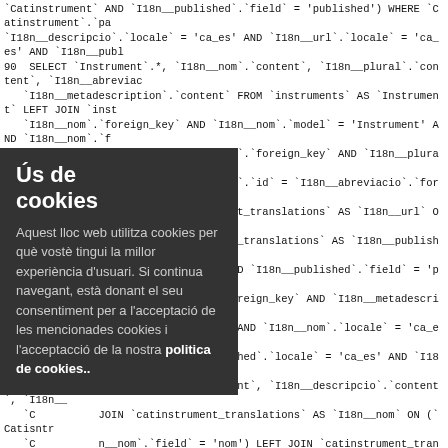SQL query log lines (90, 91, 92) with backtick-quoted identifiers and Catalan i18n field references, partially obscured by a cookie consent overlay.
[Figure (other): Cookie consent popup overlay in Catalan language on a dark (#333) background, with title 'Ús de cookies' and body text about cookie usage and a link to 'politica de cookies..']